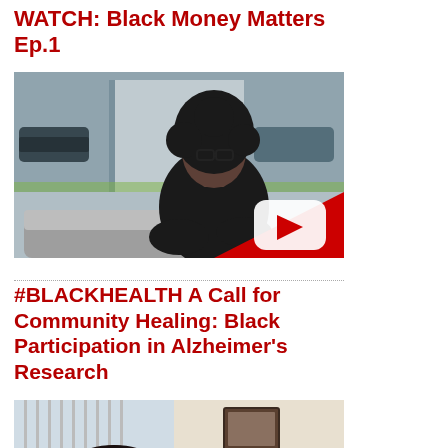WATCH: Black Money Matters Ep.1
[Figure (photo): Video thumbnail showing a woman with curly hair wearing glasses and a black outfit, seated on a grey couch in an indoor setting with a window behind her. A red YouTube play button overlay is in the bottom-right corner.]
#BLACKHEALTH A Call for Community Healing: Black Participation in Alzheimer's Research
[Figure (photo): Partial thumbnail showing an indoor setting with vertical blinds and a framed image on the wall, with the top of a person's head visible at the bottom.]